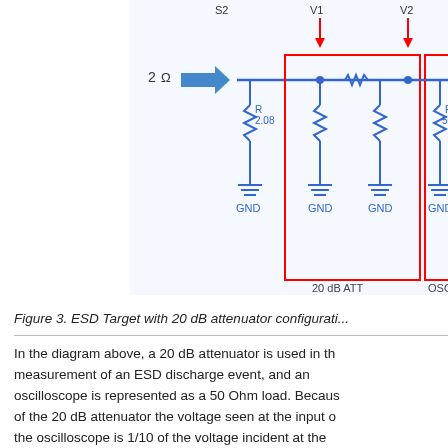[Figure (circuit-diagram): Circuit schematic showing ESD Target with 20 dB attenuator configuration. Shows a 2 Ohm source (arrow pointing right), connected to resistor R=2.08 to GND, then a boxed section labeled '20 dB ATT' containing two branches each with a resistor to GND (labeled V1 at top), connected via wire to another boxed section labeled 'OSC' with resistor R=50 to GND (labeled V2 at top). Red arrows point down at V1 and V2 nodes. Components labeled S2, V1, V2, R 2.08, GND (multiple), R 50.]
Figure 3. ESD Target with 20 dB attenuator configurati...
In the diagram above, a 20 dB attenuator is used in the measurement of an ESD discharge event, and an oscilloscope is represented as a 50 Ohm load. Because of the 20 dB attenuator the voltage seen at the input of the oscilloscope is 1/10 of the voltage incident at the target, or
V2= V1/10.
Because the attenuator is terminated in 50 Ohm, the